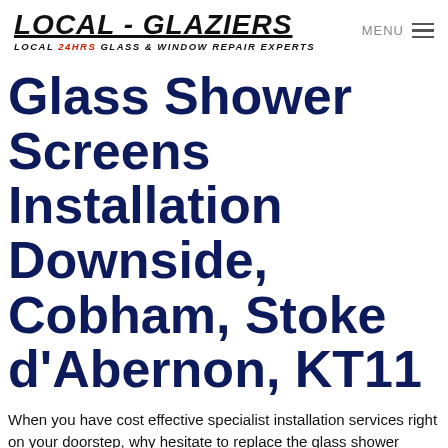LOCAL - GLAZIERS LOCAL 24HRS GLASS & WINDOW REPAIR EXPERTS | MENU
Glass Shower Screens Installation Downside, Cobham, Stoke d'Abernon, KT11
When you have cost effective specialist installation services right on your doorstep, why hesitate to replace the glass shower screen in your Downside, Cobham, Stoke d'Abernon, KT11 home or business?